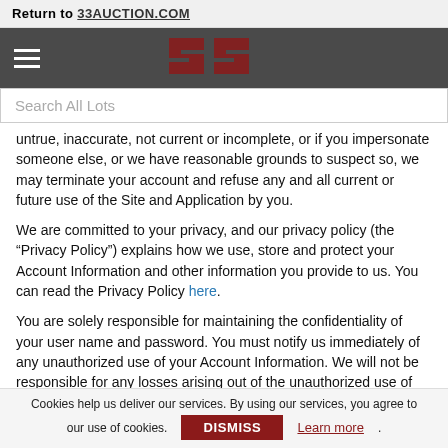Return to 33AUCTION.COM
[Figure (logo): Navigation bar with hamburger menu icon and 33 Auction logo in dark red/crimson on grey background]
Search All Lots
untrue, inaccurate, not current or incomplete, or if you impersonate someone else, or we have reasonable grounds to suspect so, we may terminate your account and refuse any and all current or future use of the Site and Application by you.
We are committed to your privacy, and our privacy policy (the “Privacy Policy”) explains how we use, store and protect your Account Information and other information you provide to us. You can read the Privacy Policy here.
You are solely responsible for maintaining the confidentiality of your user name and password. You must notify us immediately of any unauthorized use of your Account Information. We will not be responsible for any losses arising out of the unauthorized use of your account and you will
Cookies help us deliver our services. By using our services, you agree to our use of cookies. DISMISS Learn more.